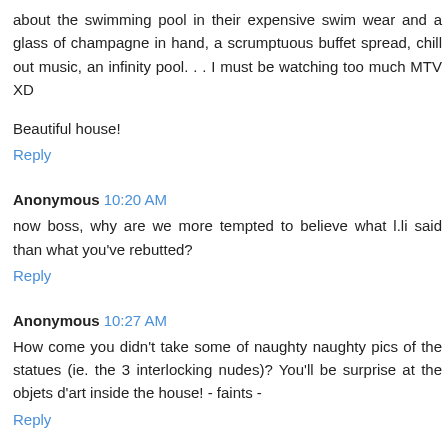about the swimming pool in their expensive swim wear and a glass of champagne in hand, a scrumptuous buffet spread, chill out music, an infinity pool. . . I must be watching too much MTV XD
Beautiful house!
Reply
Anonymous 10:20 AM
now boss, why are we more tempted to believe what l.li said than what you've rebutted?
Reply
Anonymous 10:27 AM
How come you didn't take some of naughty naughty pics of the statues (ie. the 3 interlocking nudes)? You'll be surprise at the objets d'art inside the house! - faints -
Reply